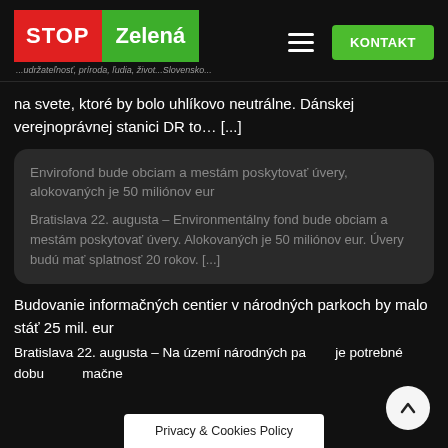STOP Zelená — ...udržateľnosť, príroda, ľudia, život...Slovensko... — KONTAKT
na svete, ktoré by bolo uhlíkovo neutrálne. Dánskej verejnoprávnej stanici DR to… [...]
Envirofond bude obciam a mestám poskytovať úvery, alokovaných je 50 miliónov eur
Bratislava 22. augusta – Environmentálny fond bude obciam a mestám poskytovať úvery. Alokovaných je 50 miliónov eur. Úvery budú mať splatnosť 20 rokov. [...]
Budovanie informačných centier v národných parkoch by malo stáť 25 mil. eur
Bratislava 22. augusta – Na území národných pa... je potrebné dobu... mačne...
Privacy & Cookies Policy